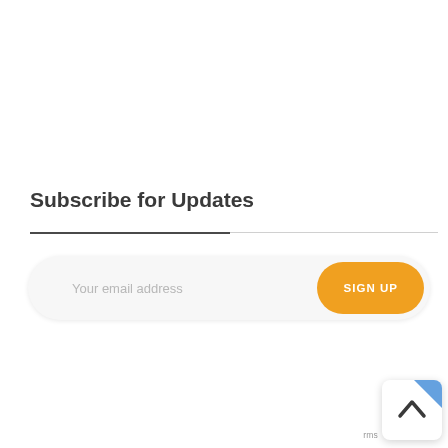Subscribe for Updates
[Figure (other): Email subscription form with a rounded pill-shaped input field showing placeholder text 'Your email address' and an orange rounded 'SIGN UP' button on the right]
[Figure (other): Scroll-to-top button widget in lower right corner with an upward chevron arrow icon and a folded corner effect showing blue color, with 'rms' text label]